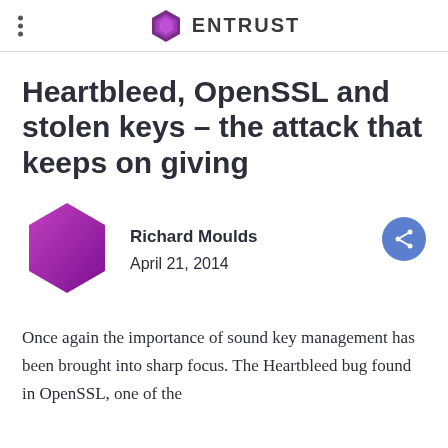ENTRUST
Heartbleed, OpenSSL and stolen keys – the attack that keeps on giving
Richard Moulds
April 21, 2014
Once again the importance of sound key management has been brought into sharp focus. The Heartbleed bug found in OpenSSL, one of the